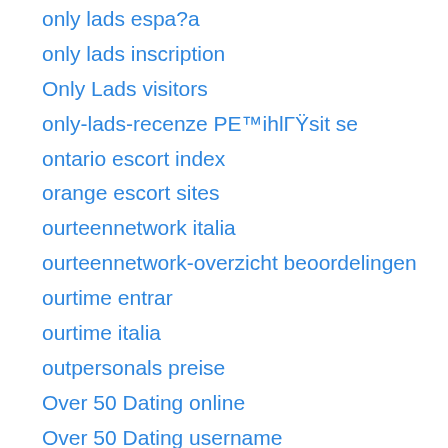only lads espa?a
only lads inscription
Only Lads visitors
only-lads-recenze PE™ihlГŸsit se
ontario escort index
orange escort sites
ourteennetwork italia
ourteennetwork-overzicht beoordelingen
ourtime entrar
ourtime italia
outpersonals preise
Over 50 Dating online
Over 50 Dating username
overland-park escort service
overland-park escort website